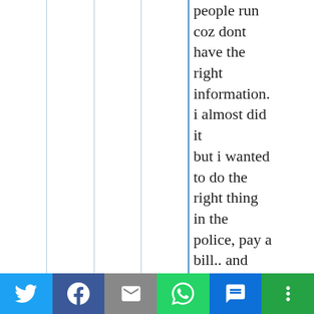people run coz dont have the right information. i almost did it but i wanted to do the right thing in the police, pay a bill.. and
[Figure (other): Social media share bar with Twitter, Facebook, Email, WhatsApp, SMS, and More buttons]